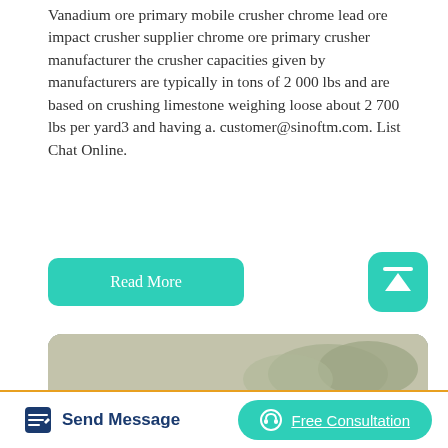Vanadium ore primary mobile crusher chrome lead ore impact crusher supplier chrome ore primary crusher manufacturer the crusher capacities given by manufacturers are typically in tons of 2 000 lbs and are based on crushing limestone weighing loose about 2 700 lbs per yard3 and having a. customer@sinoftm.com. List Chat Online.
Read More
[Figure (photo): Outdoor mining/quarry site with a yellow excavator/loader on the left, a small blue shed structure in the center, dusty hilly terrain with rocky debris and sparse trees in the background.]
Send Message
Free Consultation